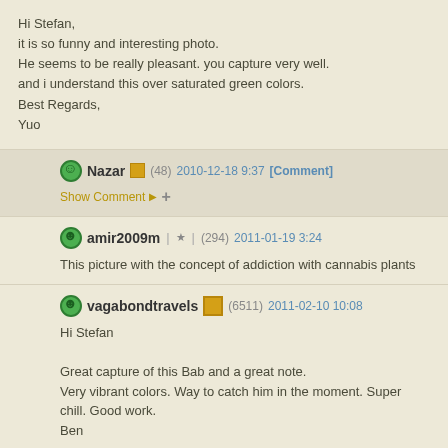Hi Stefan,
it is so funny and interesting photo.
He seems to be really pleasant. you capture very well.
and i understand this over saturated green colors.
Best Regards,
Yuo
Nazar (48) 2010-12-18 9:37 [Comment]
Show Comment +
amir2009m | ★ | (294) 2011-01-19 3:24
This picture with the concept of addiction with cannabis plants
vagabondtravels (6511) 2011-02-10 10:08
Hi Stefan

Great capture of this Bab and a great note.
Very vibrant colors. Way to catch him in the moment. Super chill. Good work.
Ben